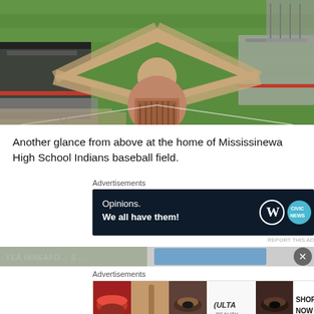[Figure (photo): Aerial drone view of Mississinewa High School Indians baseball field, showing the diamond infield with pitcher's mound, green grass outfield, dirt base paths, dugouts on left and right sides, and surrounding structures.]
Another glance from above at the home of Mississinewa High School Indians baseball field.
Advertisements
[Figure (screenshot): Dark navy advertisement banner reading 'Opinions. We all have them!' with WordPress logo (W in circle) and another circular icon on the right.]
REPORT THIS AD
[Figure (screenshot): Partially visible banner strip at the bottom of the page with a close X button on the right side.]
Advertisements
[Figure (screenshot): Ulta Beauty advertisement showing makeup themed images: red lips, makeup brush, eye with eyeshadow, Ulta logo, eye makeup close-up, and SHOP NOW button.]